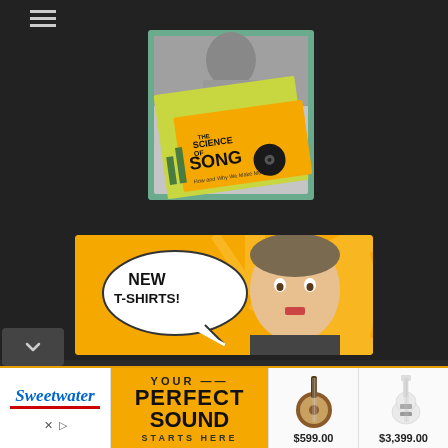☰ (hamburger menu)
[Figure (photo): Book cover for 'The Science of Song - How and Why We Make Music' shown on a yellow/green cover, held by a person partially visible in the background, with a teal border frame.]
[Figure (photo): Promotional banner with yellow/gold sunburst background showing a man with a speech bubble saying 'NEW T-SHIRTS!']
[Figure (infographic): Sweetwater advertisement banner showing the Sweetwater logo on the left, a yellow 'YOUR PERFECT SOUND STARTS HERE' promotional text in the center, and two instrument product photos (a banjo/mandolin at $599.00 and a white electric guitar at $3,399.00) on the right.]